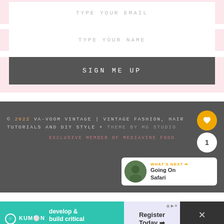TYPE YOUR EMAIL
TYPE YOUR NAME
SIGN ME UP
© 2022 VA-VOOM VINTAGE | VINTAGE FASHION, HAIR TUTORIALS AND DIY STYLE • THEME BY MG STUDIO
EXCLUSIVE MEMBER OF MEDIAVINE FOOD
WHAT'S NEXT → Going On Safari
[Figure (screenshot): Kumon advertisement banner: teal background with Kumon logo and 'develop & build critical reading skills' text, plus 'Register Today →' button]